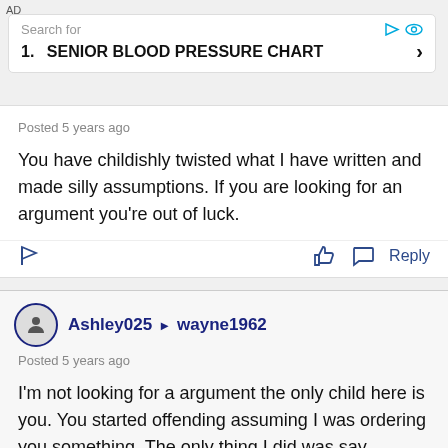AD
[Figure (screenshot): Advertisement banner: Search for 1. SENIOR BLOOD PRESSURE CHART with chevron arrow]
Posted 5 years ago
You have childishly twisted what I have written and made silly assumptions. If you are looking for an argument you're out of luck.
Ashley025 ▶ wayne1962
Posted 5 years ago
I'm not looking for a argument the only child here is you. You started offending assuming I was ordering you something. The only thing I did was say, "respect religion." But you didn't want it to stay